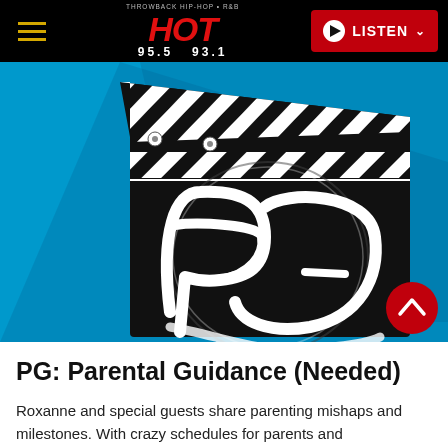HOT 95.5 / 93.1 — THROWBACK HIP-HOP + R&B — LISTEN
[Figure (illustration): Movie clapperboard graphic on a blue background with stylized 'PG' monogram in white script on a black rectangle. A red circular scroll-to-top button appears in the bottom right corner.]
PG: Parental Guidance (Needed)
Roxanne and special guests share parenting mishaps and milestones. With crazy schedules for parents and